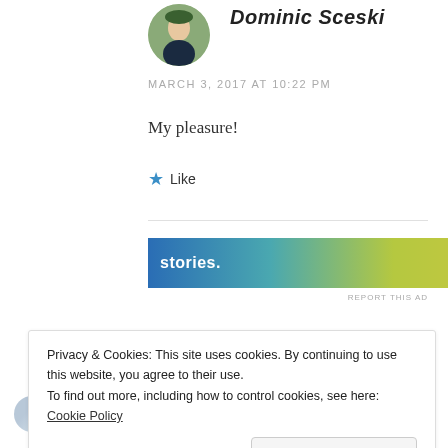[Figure (photo): Circular avatar photo of a young man in formal wear with a bow tie, outdoors with green background]
Dominic Sceski
MARCH 3, 2017 AT 10:22 PM
My pleasure!
★ Like
[Figure (other): Advertisement banner with blue-to-yellow gradient showing partial text 'stories.' and a circular icon on the right, with 'REPORT THIS AD' text below]
Privacy & Cookies: This site uses cookies. By continuing to use this website, you agree to their use.
To find out more, including how to control cookies, see here: Cookie Policy
Close and accept